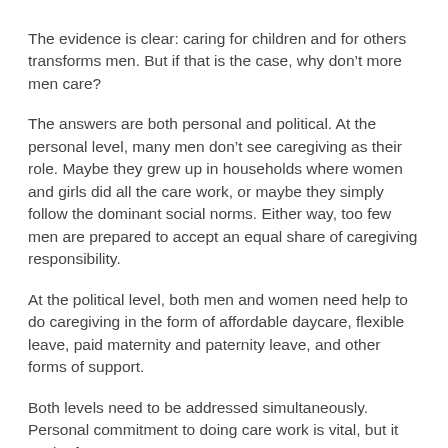The evidence is clear: caring for children and for others transforms men. But if that is the case, why don’t more men care?
The answers are both personal and political. At the personal level, many men don’t see caregiving as their role. Maybe they grew up in households where women and girls did all the care work, or maybe they simply follow the dominant social norms. Either way, too few men are prepared to accept an equal share of caregiving responsibility.
At the political level, both men and women need help to do caregiving in the form of affordable daycare, flexible leave, paid maternity and paternity leave, and other forms of support.
Both levels need to be addressed simultaneously. Personal commitment to doing care work is vital, but it easier for